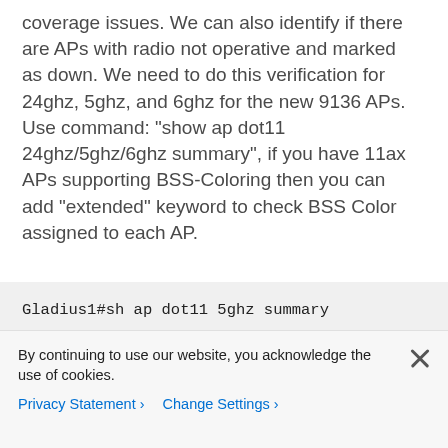coverage issues. We can also identify if there are APs with radio not operative and marked as down. We need to do this verification for 24ghz, 5ghz, and 6ghz for the new 9136 APs. Use command: "show ap dot11 24ghz/5ghz/6ghz summary", if you have 11ax APs supporting BSS-Coloring then you can add "extended" keyword to check BSS Color assigned to each AP.
[Figure (screenshot): Terminal code block showing command: Gladius1#sh ap dot11 5ghz summary followed by table header: AP Name   Mac Address   Slot   Admin Stat]
By continuing to use our website, you acknowledge the use of cookies.
Privacy Statement > Change Settings >